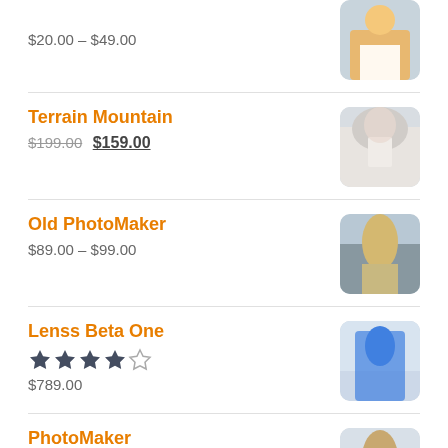$20.00 – $49.00
Terrain Mountain
$199.00 $159.00
Old PhotoMaker
$89.00 – $99.00
Lenss Beta One
★★★★☆ $789.00
PhotoMaker
★★★★☆ $899.00